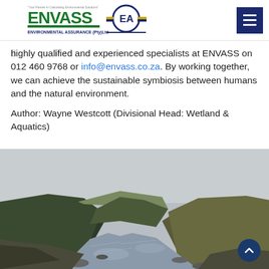ENVASS - Environmental Assurance (Pty)Ltd
highly qualified and experienced specialists at ENVASS on 012 460 9768 or info@envass.co.za. By working together, we can achieve the sustainable symbiosis between humans and the natural environment.
Author: Wayne Westcott (Divisional Head: Wetland & Aquatics)
[Figure (photo): A river flowing through a mountain valley with steep hills covered in green vegetation on both sides, rocky riverbed in foreground, overcast sky.]